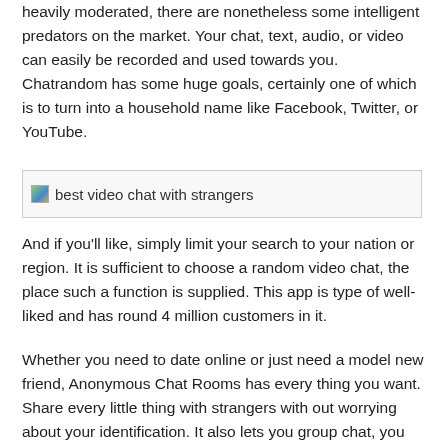heavily moderated, there are nonetheless some intelligent predators on the market. Your chat, text, audio, or video can easily be recorded and used towards you. Chatrandom has some huge goals, certainly one of which is to turn into a household name like Facebook, Twitter, or YouTube.
[Figure (photo): Image placeholder with alt text: best video chat with strangers]
And if you'll like, simply limit your search to your nation or region. It is sufficient to choose a random video chat, the place such a function is supplied. This app is type of well-liked and has round 4 million customers in it.
Whether you need to date online or just need a model new friend, Anonymous Chat Rooms has every thing you want. Share every little thing with strangers with out worrying about your identification. It also lets you group chat, you can simply be part of a bunch based on your curiosity and chat with other members. You also can create and be part of clubs